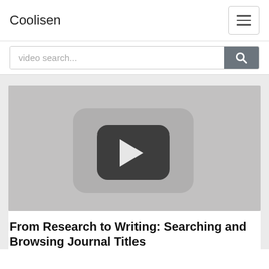Coolisen
video search...
[Figure (screenshot): Video thumbnail showing a YouTube-style play button on a grey background]
From Research to Writing: Searching and Browsing Journal Titles